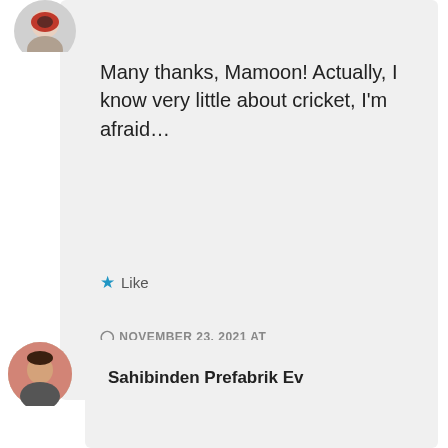[Figure (photo): Partially visible circular avatar photo at top left showing red and dark colors]
Many thanks, Mamoon! Actually, I know very little about cricket, I'm afraid…
★ Like
NOVEMBER 23, 2021 AT 10:57 AM
↳ REPLY
[Figure (photo): Circular avatar photo of a man with a Turkish flag in the background]
Sahibinden Prefabrik Ev